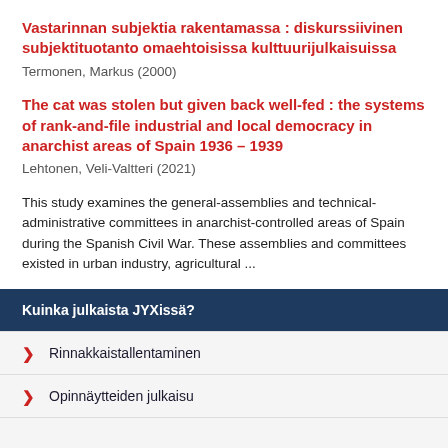Vastarinnan subjektia rakentamassa : diskurssiivinen subjektituotanto omaehtoisissa kulttuurijulkaisuissa
Termonen, Markus (2000)
The cat was stolen but given back well-fed : the systems of rank-and-file industrial and local democracy in anarchist areas of Spain 1936 – 1939
Lehtonen, Veli-Valtteri (2021)
This study examines the general-assemblies and technical-administrative committees in anarchist-controlled areas of Spain during the Spanish Civil War. These assemblies and committees existed in urban industry, agricultural ...
Kuinka julkaista JYXissä?
Rinnakkaistallentaminen
Opinnäytteiden julkaisu